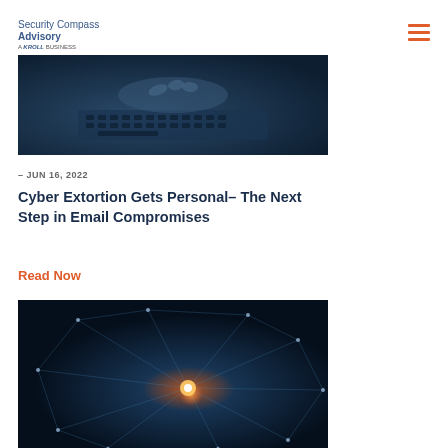Security Compass Advisory — A KROLL BUSINESS
[Figure (photo): Person's hands typing on a laptop keyboard, dark blue toned image]
– JUN 16, 2022
Cyber Extortion Gets Personal– The Next Step in Email Compromises
Read Now
[Figure (photo): Dark blue network/cyber background with glowing orange center node and interconnected lines representing digital network connections]